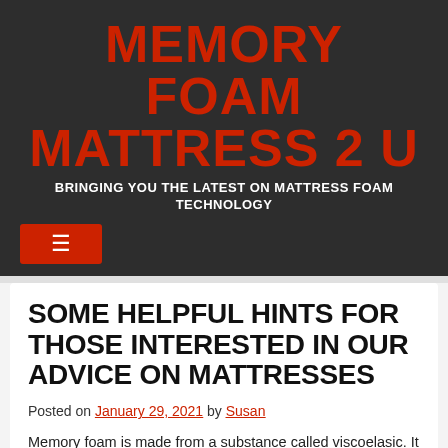MEMORY FOAM MATTRESS 2 U
BRINGING YOU THE LATEST ON MATTRESS FOAM TECHNOLOGY
≡ (menu button)
SOME HELPFUL HINTS FOR THOSE INTERESTED IN OUR ADVICE ON MATTRESSES
Posted on January 29, 2021 by Susan
Memory foam is made from a substance called viscoelasic. It is because the foam is flexible and elastic and its ingredients